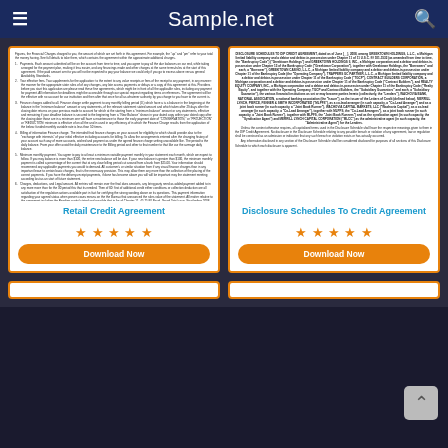Sample.net
[Figure (screenshot): Document preview of Retail Credit Agreement - legal text with numbered paragraphs]
[Figure (screenshot): Document preview of Disclosure Schedules To Credit Agreement - legal text about Greektown Holdings LLC and bankruptcy proceedings]
Retail Credit Agreement
Disclosure Schedules To Credit Agreement
[Figure (other): 5 orange stars rating for Retail Credit Agreement]
[Figure (other): 5 orange stars rating for Disclosure Schedules To Credit Agreement]
Download Now
Download Now